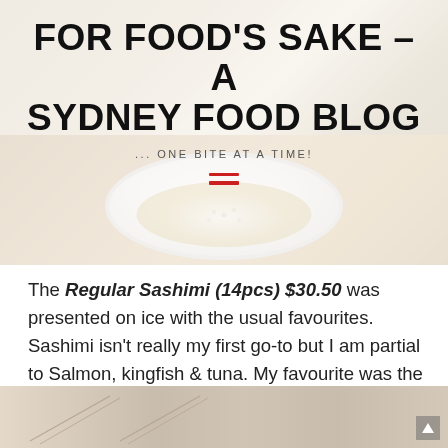[Figure (photo): Blog header image with food photo background (plate with food on wooden table), white overlay, showing blog title, subtitle, and hamburger menu icon]
FOR FOOD'S SAKE – A SYDNEY FOOD BLOG
... ONE BITE AT A TIME!
The Regular Sashimi (14pcs) $30.50 was presented on ice with the usual favourites. Sashimi isn't really my first go-to but I am partial to Salmon, kingfish & tuna. My favourite was the salmon.
[Figure (photo): Partial bottom image showing what appears to be chopsticks or dining items on a light surface]